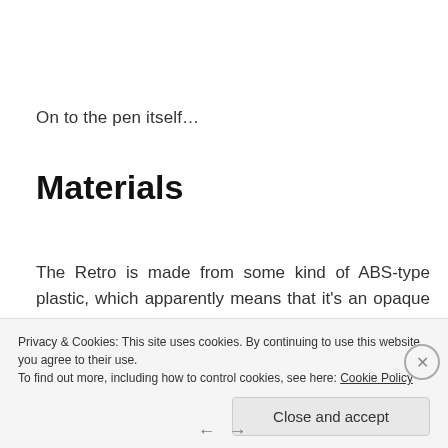On to the pen itself…
Materials
The Retro is made from some kind of ABS-type plastic, which apparently means that it's an opaque thermoplastic and an amorphous polymer. Well that's good to know. The really good news is that there's
Privacy & Cookies: This site uses cookies. By continuing to use this website, you agree to their use.
To find out more, including how to control cookies, see here: Cookie Policy
Close and accept